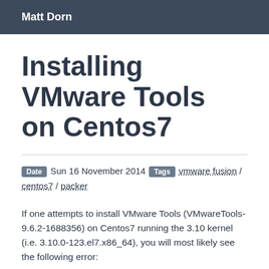Matt Dorn
Installing VMware Tools on Centos7
Date  Sun 16 November 2014  Tags  vmware fusion / centos7 / packer
If one attempts to install VMware Tools (VMwareTools-9.6.2-1688356) on Centos7 running the 3.10 kernel (i.e. 3.10.0-123.el7.x86_64), you will most likely see the following error:
In file included from /tmp/modconfig-5vxwsx/vmhgfs-only/
/tmp/modconfig-5vxwsx/vmhgfs-only/inode.c: In function(